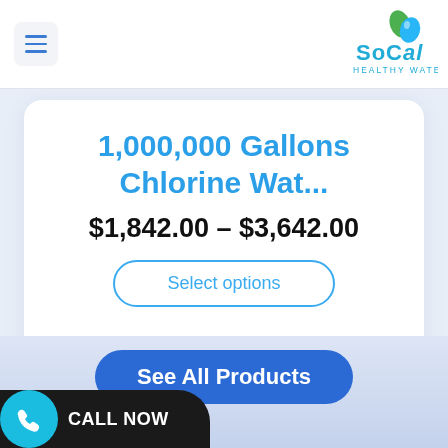[Figure (logo): SoCal Healthy Water logo with green leaf and blue water drop icon, teal text reading SoCal and HEALTHY WATER below]
1,000,000 Gallons Chlorine Wat...
$1,842.00 – $3,642.00
Select options
[Figure (infographic): 4 out of 5 star rating shown as gold stars]
See All Products
CALL NOW